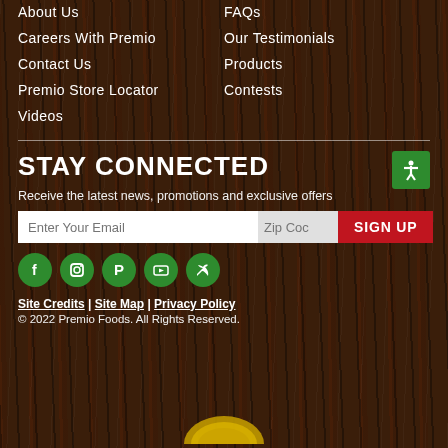About Us
Careers With Premio
Contact Us
Premio Store Locator
Videos
FAQs
Our Testimonials
Products
Contests
STAY CONNECTED
Receive the latest news, promotions and exclusive offers
Enter Your Email | Zip Code | SIGN UP
[Figure (infographic): Social media icons: Facebook, Instagram, Pinterest, YouTube, Twitter — green circles]
Site Credits | Site Map | Privacy Policy
© 2022 Premio Foods. All Rights Reserved.